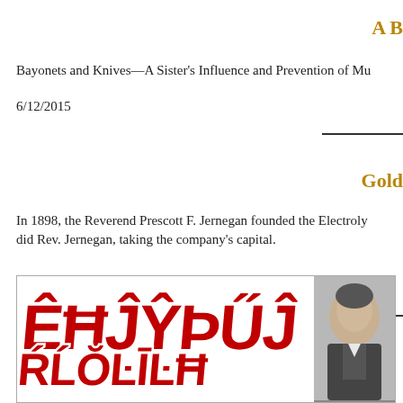A B
Bayonets and Knives—A Sister's Influence and Prevention of Mu
6/12/2015
Gold
In 1898, the Reverend Prescott F. Jernegan founded the Electrolytic Marine Salts Company and then vanished as did Rev. Jernegan, taking the company's capital.
7/16/2013
[Figure (photo): A decorative image with large red bold text on the left portion, and a black-and-white portrait photo on the right portion]